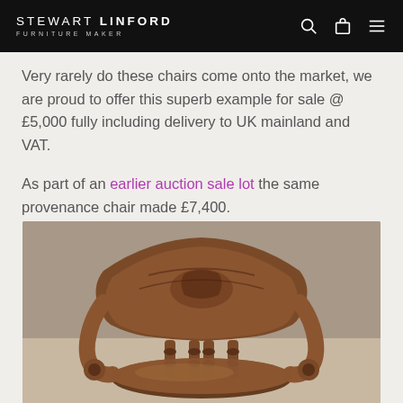STEWART LINFORD FURNITURE MAKER
Very rarely do these chairs come onto the market, we are proud to offer this superb example for sale @ £5,000 fully including delivery to UK mainland and VAT.
As part of an earlier auction sale lot the same provenance chair made £7,400.
[Figure (photo): Photograph of an antique wooden armchair with carved back rail, turned spindles, and scroll arms, viewed from behind/above.]